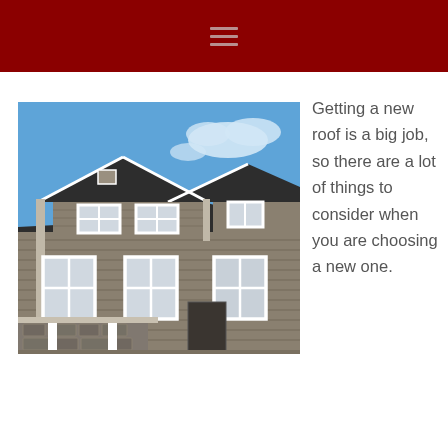[Figure (photo): Exterior view of a large two-story craftsman-style house with gray siding, white trim, dark asphalt shingle roof, prominent gabled dormers, and a covered front porch with stone accents, set against a bright blue sky.]
Getting a new roof is a big job, so there are a lot of things to consider when you are choosing a new one.